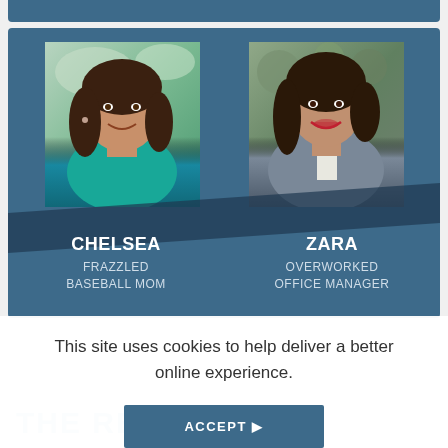[Figure (photo): Two women personas side by side on a blue card. Left: Chelsea, labeled 'Frazzled Baseball Mom'. Right: Zara, labeled 'Overworked Office Manager'. Both are headshot photos on a steel-blue background.]
This site uses cookies to help deliver a better online experience.
ACCEPT ▶
THE RESU...